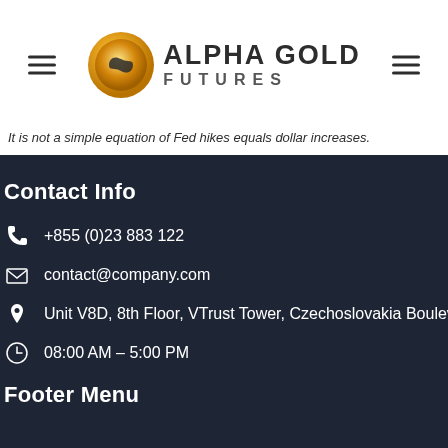Alpha Gold Futures
It is not a simple equation of Fed hikes equals dollar increases.
Contact Info
+855 (0)23 883 122
contact@company.com
Unit V8D, 8th Floor, VTrust Tower, Czechoslovakia Bouleva...
08:00 AM – 5:00 PM
Footer Menu